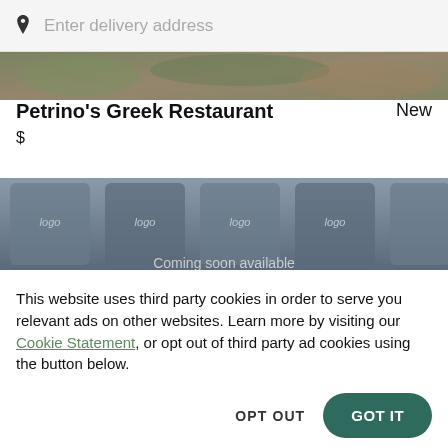Enter delivery address
[Figure (photo): Food image strip at top, partially visible cropped photo of a dish]
Petrino's Greek Restaurant
New
$
[Figure (photo): Second food image strip, showing bags with logo text, partially clipped at bottom]
This website uses third party cookies in order to serve you relevant ads on other websites. Learn more by visiting our Cookie Statement, or opt out of third party ad cookies using the button below.
OPT OUT
GOT IT